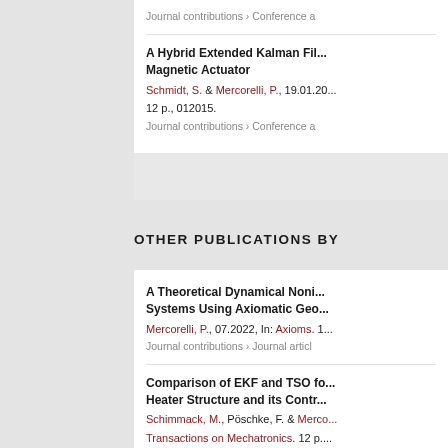Journal contributions › Conference a
A Hybrid Extended Kalman Fil... Magnetic Actuator
Schmidt, S. & Mercorelli, P., 19.01.20...
12 p., 012015.
Journal contributions › Conference a
OTHER PUBLICATIONS BY
A Theoretical Dynamical Noni... Systems Using Axiomatic Geo...
Mercorelli, P., 07.2022, In: Axioms. 1...
Journal contributions › Journal articl
Comparison of EKF and TSO fo... Heater Structure and its Contr...
Schimmack, M., Pöschke, F. & Merco...
Transactions on Mechatronics. 12 p....
Journal contributions › Journal articl